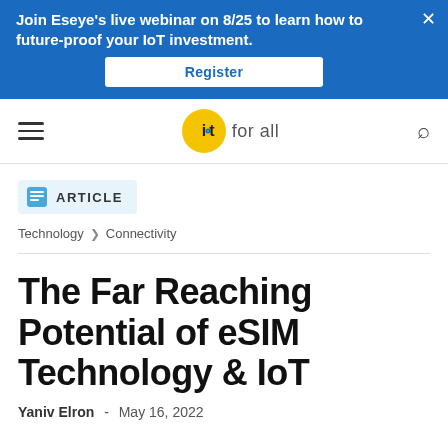[Figure (screenshot): Blue promotional banner: 'Join Eseye's live webinar on 8/25 to learn how to future-proof your IoT investment.' with a white Register button and an X close button.]
[Figure (logo): IoT For All logo: yellow circle with 'i·t' text and 'for all' beside it.]
ARTICLE
Technology > Connectivity
The Far Reaching Potential of eSIM Technology & IoT
Yaniv Elron  -  May 16, 2022